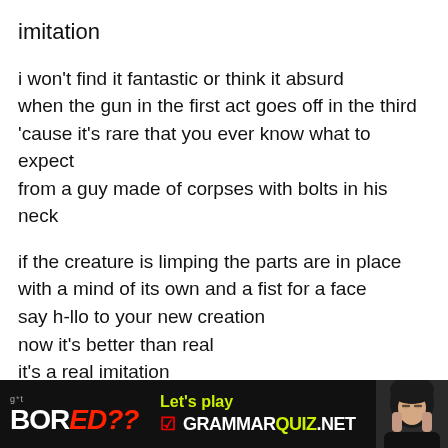imitation
i won't find it fantastic or think it absurd
when the gun in the first act goes off in the third
'cause it's rare that you ever know what to expect
from a guy made of corpses with bolts in his neck
if the creature is limping the parts are in place
with a mind of its own and a fist for a face
say h-llo to your new creation
now it's better than real
it's a real imitation
you may wonder what the catch is
as we batten down the hatches
and when later we find that the thing we devised
[Figure (infographic): Advertisement banner: black background with 'g*t BORED??' text on left in white/red, 'Let's play' in yellow-green, 'GRAMMARQUIZ.NET' logo in white and yellow-green with red checkbox, and a photo of a woman on the right.]